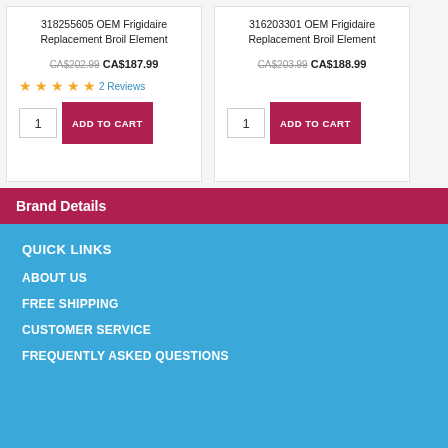318255605 OEM Frigidaire Replacement Broil Element
CA$202.99 CA$187.99
2 Reviews
316203301 OEM Frigidaire Replacement Broil Element
CA$203.99 CA$188.99
Brand Details
QUICK LINKS
ABOUT US
FREE SHIPPING
CUSTOMER SERVICE
FREQUENTLY ASKED QUESTIONS